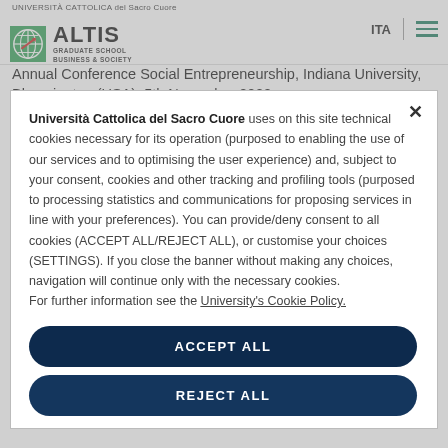[Figure (logo): ALTIS Graduate School Business & Society logo with globe icon, under Università Cattolica del Sacro Cuore header]
ITA | ≡
Annual Conference Social Entrepreneurship, Indiana University, Bloomington (USA), 5th November 2020
Università Cattolica del Sacro Cuore uses on this site technical cookies necessary for its operation (purposed to enabling the use of our services and to optimising the user experience) and, subject to your consent, cookies and other tracking and profiling tools (purposed to processing statistics and communications for proposing services in line with your preferences). You can provide/deny consent to all cookies (ACCEPT ALL/REJECT ALL), or customise your choices (SETTINGS). If you close the banner without making any choices, navigation will continue only with the necessary cookies.
For further information see the University's Cookie Policy.
ACCEPT ALL
REJECT ALL